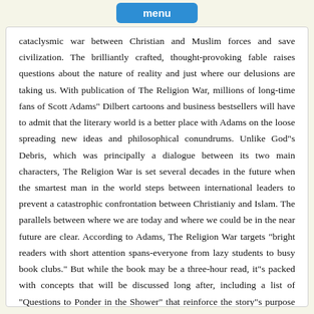menu
cataclysmic war between Christian and Muslim forces and save civilization. The brilliantly crafted, thought-provoking fable raises questions about the nature of reality and just where our delusions are taking us. With publication of The Religion War, millions of long-time fans of Scott Adams" Dilbert cartoons and business bestsellers will have to admit that the literary world is a better place with Adams on the loose spreading new ideas and philosophical conundrums. Unlike God"s Debris, which was principally a dialogue between its two main characters, The Religion War is set several decades in the future when the smartest man in the world steps between international leaders to prevent a catastrophic confrontation between Christianiy and Islam. The parallels between where we are today and where we could be in the near future are clear. According to Adams, The Religion War targets "bright readers with short attention spans-everyone from lazy students to busy book clubs." But while the book may be a three-hour read, it"s packed with concepts that will be discussed long after, including a list of "Questions to Ponder in the Shower" that reinforce the story"s purpose of highlighting the most important-yet most ignored-questions in the world.